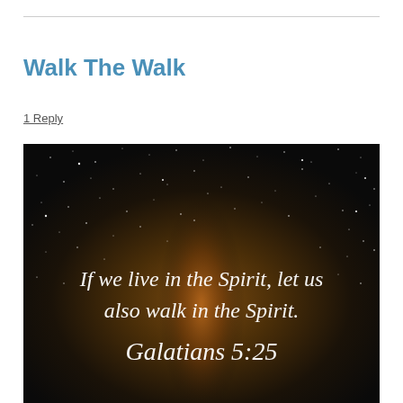Walk The Walk
1 Reply
[Figure (illustration): A dark starry night sky with a glowing Milky Way band in the center rendered in dark brown, orange and gold tones. White cursive text overlaid reads: 'If we live in the Spirit, let us also walk in the Spirit. Galatians 5:25']